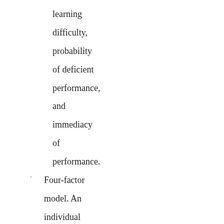learning difficulty, probability of deficient performance, and immediacy of performance.
Four-factor model. An individual critical task selection model that uses percent